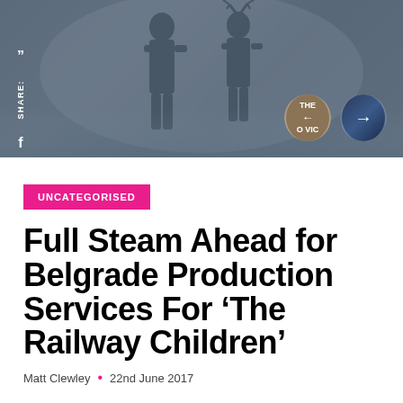[Figure (photo): Dark moody hero image with two figures standing, overlaid with share icons on left and circular navigation buttons on right. Text 'THE O VIC' visible on one circle with a left arrow, and a second circle with a right arrow on a blue-toned image background.]
UNCATEGORISED
Full Steam Ahead for Belgrade Production Services For ‘The Railway Children’
Matt Clewley • 22nd June 2017